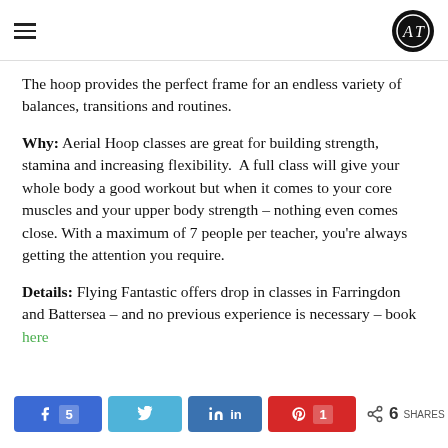AT logo header
The hoop provides the perfect frame for an endless variety of balances, transitions and routines.
Why: Aerial Hoop classes are great for building strength, stamina and increasing flexibility. A full class will give your whole body a good workout but when it comes to your core muscles and your upper body strength – nothing even comes close. With a maximum of 7 people per teacher, you're always getting the attention you require.
Details: Flying Fantastic offers drop in classes in Farringdon and Battersea – and no previous experience is necessary – book here
Share bar: Facebook 5, Twitter, LinkedIn, Pinterest 1, 6 SHARES